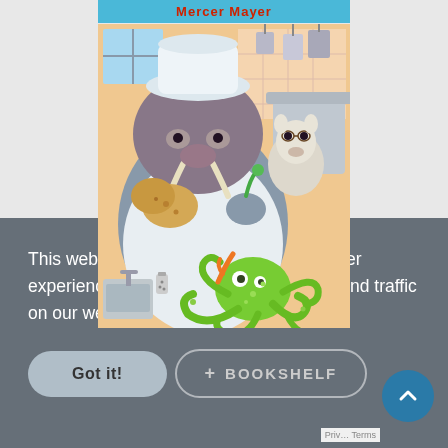[Figure (illustration): Book cover illustration showing a monster/creature chef wearing a white chef hat and apron, holding rolls of bread, with a small animal (opossum or rat) in glasses nearby, cooking pots hanging in background, and a green octopus in the foreground. Title author 'Mercer Mayer' shown at top on a teal banner.]
This website uses cookies to enhance user experience and to analyze performance and traffic on our website. Learn more
Got it!
+ BOOKSHELF
Priv... Terms